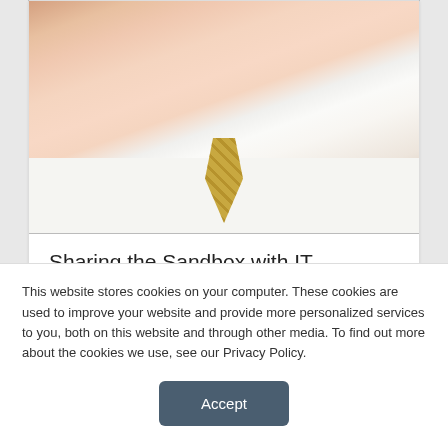[Figure (photo): Photograph of a man in a white shirt and gold/beige patterned tie, cropped to head and upper torso]
Sharing the Sandbox with IT
August 18, 2008
This website stores cookies on your computer. These cookies are used to improve your website and provide more personalized services to you, both on this website and through other media. To find out more about the cookies we use, see our Privacy Policy.